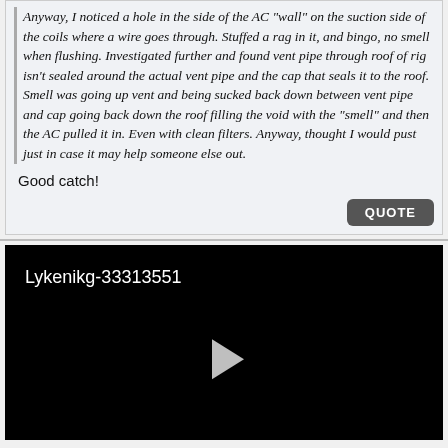Anyway, I noticed a hole in the side of the AC "wall" on the suction side of the coils where a wire goes through. Stuffed a rag in it, and bingo, no smell when flushing. Investigated further and found vent pipe through roof of rig isn't sealed around the actual vent pipe and the cap that seals it to the roof. Smell was going up vent and being sucked back down between vent pipe and cap going back down the roof filling the void with the "smell" and then the AC pulled it in. Even with clean filters. Anyway, thought I would pust just in case it may help someone else out.
Good catch!
[Figure (screenshot): Black video player thumbnail with title 'Lykenikg-33313551' and a play button triangle in the center]